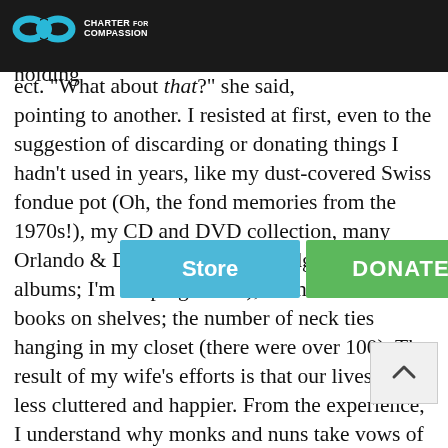[Figure (logo): Charter for Compassion logo with infinity symbol in teal and text]
hadn't used in over a year or which did not bring us joy to own. "What about this?" she asked, holding an object. "What about that?" she said, pointing to another. I resisted at first, even to the suggestion of discarding or donating things I hadn't used in years, like my dust-covered Swiss fondue pot (Oh, the fond memories from the 1970s!), my CD and DVD collection, many Orlando & Dawn and The Partridge Family albums; I'm keeping those!), the number of books on shelves; the number of neck ties hanging in my closet (there were over 100). The result of my wife's efforts is that our lives are less cluttered and happier. From the experience, I understand why monks and nuns take vows of poverty. Their lives are not impoverished for lack of things. To the contrary!
There are many addictions. Always wanting more is one of them. Buying things will never make you happy for long.
The store with the giant "You really can buy happiness" sign didn't last for long. Like thousands